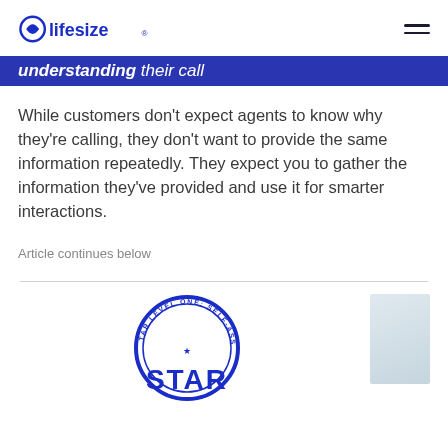lifesize
understanding their...
While customers don't expect agents to know why they're calling, they don't want to provide the same information repeatedly. They expect you to gather the information they've provided and use it for smarter interactions.
Article continues below
[Figure (logo): STAR Level One: Self-Assessment badge/seal, circular blue logo]